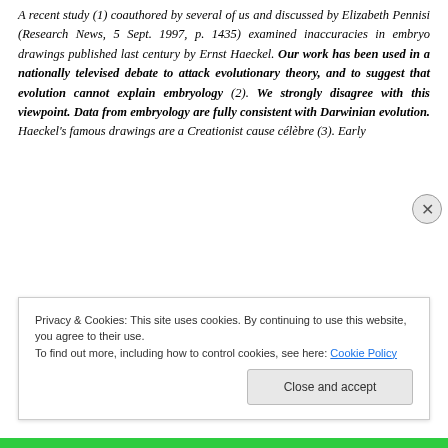A recent study (1) coauthored by several of us and discussed by Elizabeth Pennisi (Research News, 5 Sept. 1997, p. 1435) examined inaccuracies in embryo drawings published last century by Ernst Haeckel. Our work has been used in a nationally televised debate to attack evolutionary theory, and to suggest that evolution cannot explain embryology (2). We strongly disagree with this viewpoint. Data from embryology are fully consistent with Darwinian evolution. Haeckel's famous drawings are a Creationist cause célèbre (3). Early
Privacy & Cookies: This site uses cookies. By continuing to use this website, you agree to their use. To find out more, including how to control cookies, see here: Cookie Policy